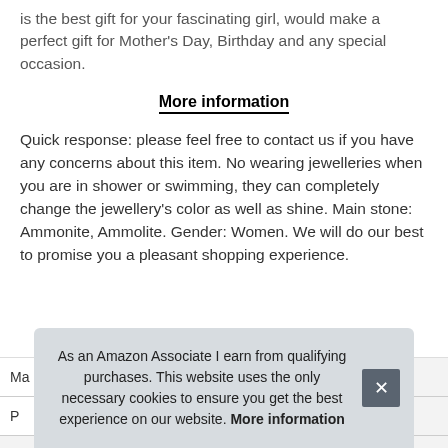is the best gift for your fascinating girl, would make a perfect gift for Mother's Day, Birthday and any special occasion.
More information
Quick response: please feel free to contact us if you have any concerns about this item. No wearing jewelleries when you are in shower or swimming, they can completely change the jewellery's color as well as shine. Main stone: Ammonite, Ammolite. Gender: Women. We will do our best to promise you a pleasant shopping experience.
As an Amazon Associate I earn from qualifying purchases. This website uses the only necessary cookies to ensure you get the best experience on our website. More information